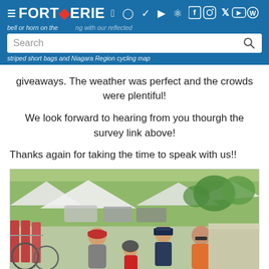Fort Erie — navigation header with social icons and search bar
giveaways.  The weather was perfect and the crowds were plentiful!
We look forward to hearing from you thourgh the survey link above!
Thanks again for taking the time to speak with us!!
[Figure (photo): Outdoor photo at a community event showing four people — a man in a red cap and grey shirt, a child in a red shirt and bike helmet, a police officer in uniform, and a man in an orange shirt — standing together near bike racks, with cars, tents, and green trees in the background.]